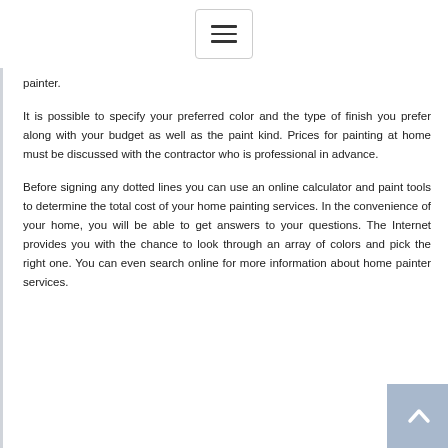Navigation menu (hamburger icon)
painter.
It is possible to specify your preferred color and the type of finish you prefer along with your budget as well as the paint kind. Prices for painting at home must be discussed with the contractor who is professional in advance.
Before signing any dotted lines you can use an online calculator and paint tools to determine the total cost of your home painting services. In the convenience of your home, you will be able to get answers to your questions. The Internet provides you with the chance to look through an array of colors and pick the right one. You can even search online for more information about home painter services.